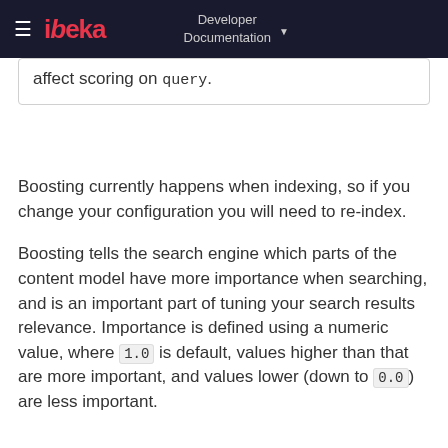ibeka Developer Documentation
affect scoring on `query`.
Boosting currently happens when indexing, so if you change your configuration you will need to re-index.
Boosting tells the search engine which parts of the content model have more importance when searching, and is an important part of tuning your search results relevance. Importance is defined using a numeric value, where 1.0 is default, values higher than that are more important, and values lower (down to 0.0) are less important.